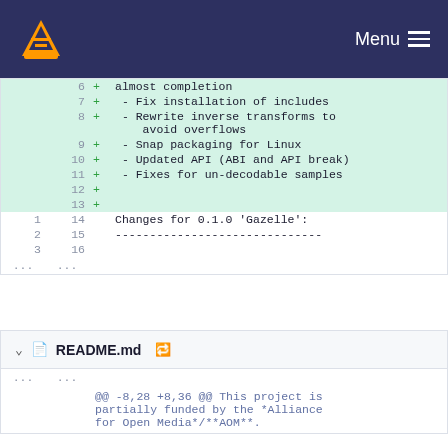VLC Menu
[Figure (screenshot): Code diff view showing added lines 7-13 with changes: Fix installation of includes, Rewrite inverse transforms to avoid overflows, Snap packaging for Linux, Updated API (ABI and API break), Fixes for un-decodable samples, and two blank added lines. Below that, context lines 1-3 / 14-16 showing 'Changes for 0.1.0 Gazelle:' and a dashed separator line.]
README.md
@@ -8,28 +8,36 @@ This project is partially funded by the *Alliance for Open Media*/**AOM**.